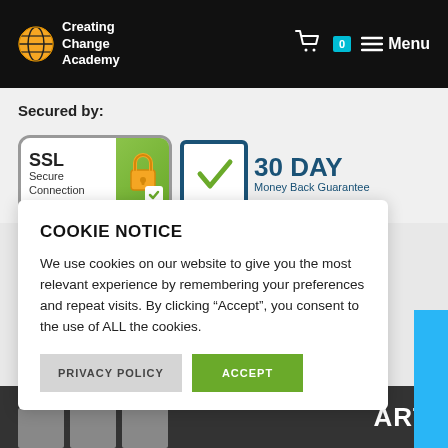Creating Change Academy — Cart 0 — Menu
Secured by:
[Figure (infographic): SSL Secure Connection badge with padlock icon and green background]
[Figure (infographic): 30 DAY Money Back Guarantee badge with teal border and green checkmark]
COOKIE NOTICE
We use cookies on our website to give you the most relevant experience by remembering your preferences and repeat visits. By clicking “Accept”, you consent to the use of ALL the cookies.
PRIVACY POLICY   ACCEPT
ART